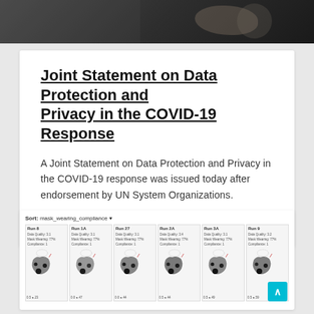[Figure (photo): Dark banner photo showing people in a meeting/conference room setting, partially visible]
Joint Statement on Data Protection and Privacy in the COVID-19 Response
A Joint Statement on Data Protection and Privacy in the COVID-19 response was issued today after endorsement by UN System Organizations.
19 November 2020
[Figure (screenshot): Screenshot of a mapping tool showing multiple small maps in a grid layout sorted by mask_wearing_compliance, displaying geographic regions with various shading patterns]